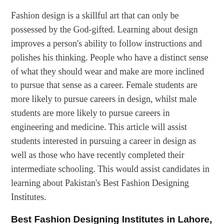Fashion design is a skillful art that can only be possessed by the God-gifted. Learning about design improves a person's ability to follow instructions and polishes his thinking. People who have a distinct sense of what they should wear and make are more inclined to pursue that sense as a career. Female students are more likely to pursue careers in design, whilst male students are more likely to pursue careers in engineering and medicine. This article will assist students interested in pursuing a career in design as well as those who have recently completed their intermediate schooling. This would assist candidates in learning about Pakistan's Best Fashion Designing Institutes.
Best Fashion Designing Institutes in Lahore, Karachi, and Islamabad for Male and Female Students
This article lists the universities in Pakistan that provide